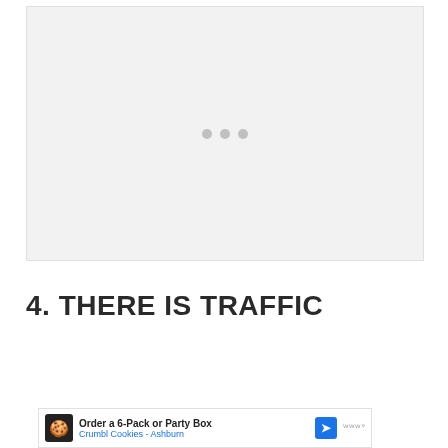[Figure (other): Loading placeholder with three gray dots centered in a light gray rectangle]
4. THERE IS TRAFFIC
[Figure (other): Advertisement banner: Order a 6-Pack or Party Box - Crumbl Cookies - Ashburn]